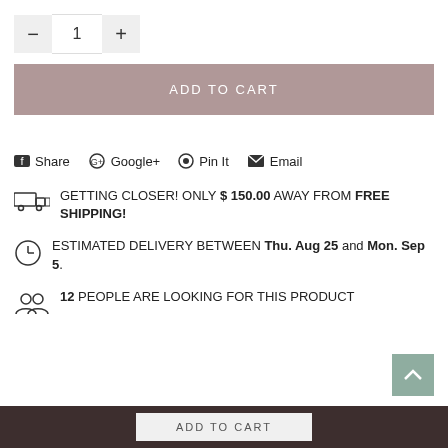[Figure (other): Quantity selector with minus button, value 1, and plus button]
ADD TO CART
Share  Google+  Pin It  Email
GETTING CLOSER! ONLY $ 150.00 AWAY FROM FREE SHIPPING!
ESTIMATED DELIVERY BETWEEN Thu. Aug 25 and Mon. Sep 5.
12 PEOPLE ARE LOOKING FOR THIS PRODUCT
ADD TO CART